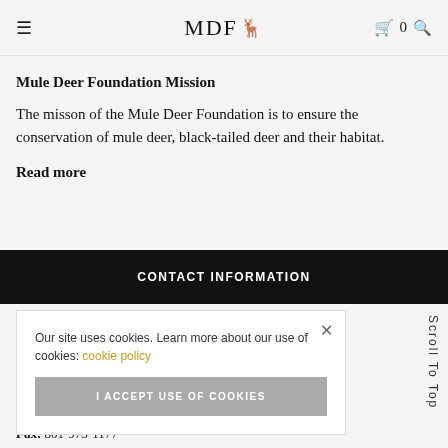MDF [logo] 0 [search]
Mule Deer Foundation Mission
The misson of the Mule Deer Foundation is to ensure the conservation of mule deer, black-tailed deer and their habitat.
Read more
CONTACT INFORMATION
Our site uses cookies. Learn more about our use of cookies: cookie policy
I ACCEPT USE OF COOKIES
Scroll To Top
Fax: 801-973-1177